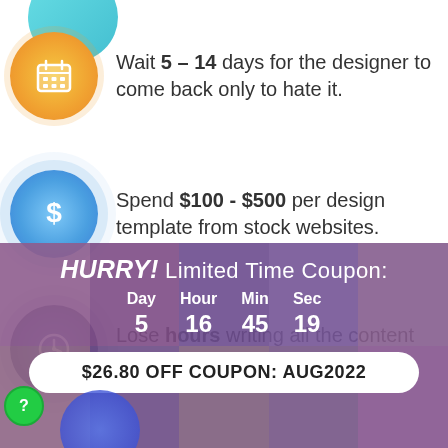Wait 5 – 14 days for the designer to come back only to hate it.
Spend $100 - $500 per design template from stock websites.
Lose hours writing all the content from scratch.
HURRY! Limited Time Coupon:
| Day | Hour | Min | Sec |
| --- | --- | --- | --- |
| 5 | 16 | 45 | 19 |
$26.80 OFF COUPON: AUG2022